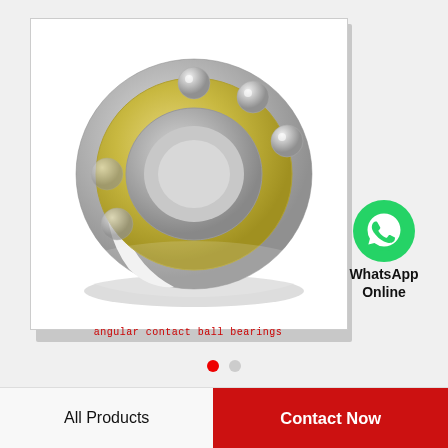[Figure (photo): Angular contact ball bearing product photo showing metallic bearing with gold cage and steel balls, displayed in white-bordered frame with drop shadow]
angular contact ball bearings
[Figure (logo): WhatsApp green circular icon with phone handset symbol, labeled 'WhatsApp Online']
WhatsApp
Online
2.362 Inch | 60 Millimeter x 5.118 Inch | 130 Millimeter x 2.126 Inch | 54 Millimeter NACH…
All Products
Contact Now